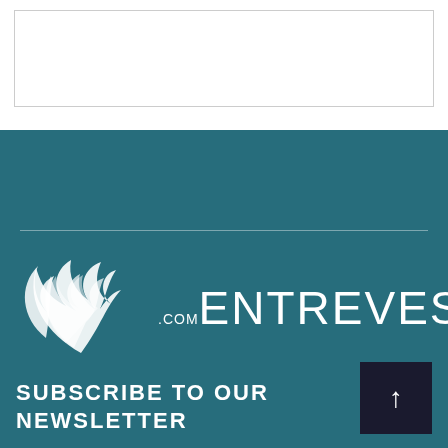[Figure (other): Empty white content box with border]
[Figure (logo): Entrevestor.com logo on teal background with stylized wing/feather SVG icon and the text ENTREVESTOR.COM]
SUBSCRIBE TO OUR NEWSLETTER